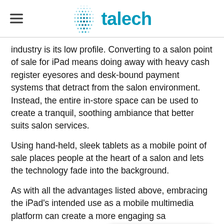talech
industry is its low profile. Converting to a salon point of sale for iPad means doing away with heavy cash register eyesores and desk-bound payment systems that detract from the salon environment. Instead, the entire in-store space can be used to create a tranquil, soothing ambiance that better suits salon services.
Using hand-held, sleek tablets as a mobile point of sale places people at the heart of a salon and lets the technology fade into the background.
As with all the advantages listed above, embracing the iPad's intended use as a mobile multimedia platform can create a more engaging sa
Salon Point of Sale for iPad